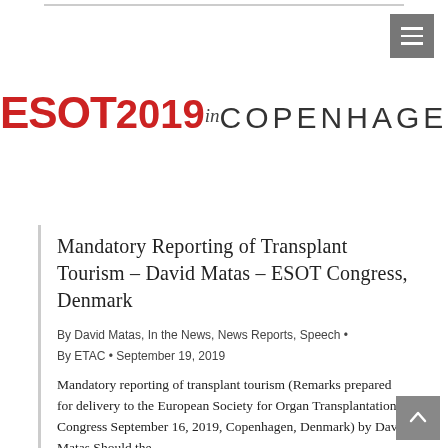[Figure (logo): ESOT 2019 in COPENHAGEN conference logo in red and dark grey]
Mandatory Reporting of Transplant Tourism – David Matas – ESOT Congress, Denmark
By David Matas, In the News, News Reports, Speech • By ETAC • September 19, 2019
Mandatory reporting of transplant tourism (Remarks prepared for delivery to the European Society for Organ Transplantation Congress September 16, 2019, Copenhagen, Denmark) by David Matas Should the